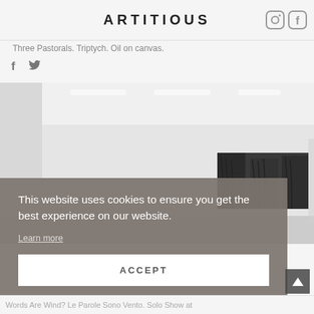ARTITIOUS
Three Pastorals. Triptych. Oil on canvas.
[Figure (photo): Gallery interior showing white walls, ceiling lights, and a dark landscape triptych painting hung on the right wall]
This website uses cookies to ensure you get the best experience on our website.
Learn more
ACCEPT
Words Are Wind? Le Parole Sono Vento. Solo Show at